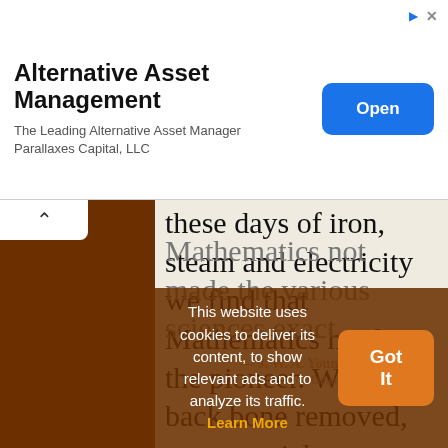[Figure (screenshot): Advertisement banner for Alternative Asset Management - Parallaxes Capital LLC with blue Open button]
these days of iron, steam and electricity we find that Mathematics has been the pioneer. Were its back bone removed, our material civilization would inevitably collapse. Modern thought and belief would have been altogether different, had Mathematics not made the various sciences exact.
This website uses cookies to deliver its content, to show relevant ads and to analyze its traffic. Learn More
Got It
— J. W. A. Young — The Teaching of Mathematics in